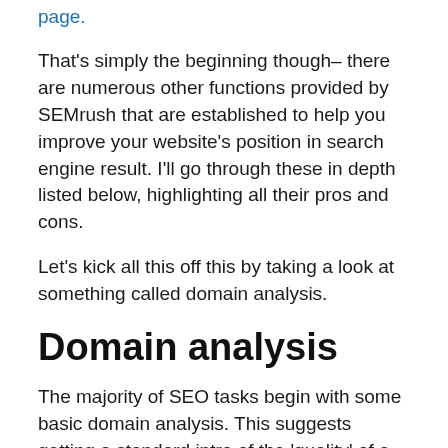page.
That's simply the beginning though– there are numerous other functions provided by SEMrush that are established to help you improve your website's position in search engine result. I'll go through these in depth listed below, highlighting all their pros and cons.
Let's kick all this off this by taking a look at something called domain analysis.
Domain analysis
The majority of SEO tasks begin with some basic domain analysis. This suggests getting a standard intro of the 'quality' of a domain